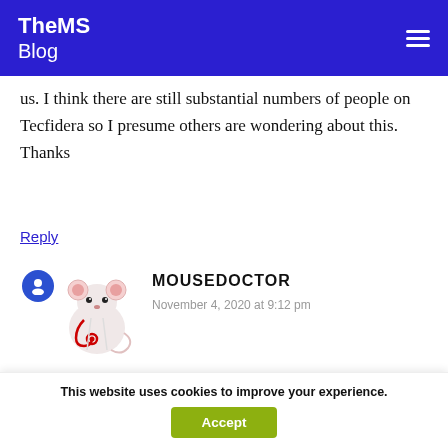TheMS Blog
us. I think there are still substantial numbers of people on Tecfidera so I presume others are wondering about this. Thanks
Reply
MOUSEDOCTOR
November 4, 2020 at 9:12 pm
Live vaccines are not recommended for most MS DMT
This website uses cookies to improve your experience.
Accept